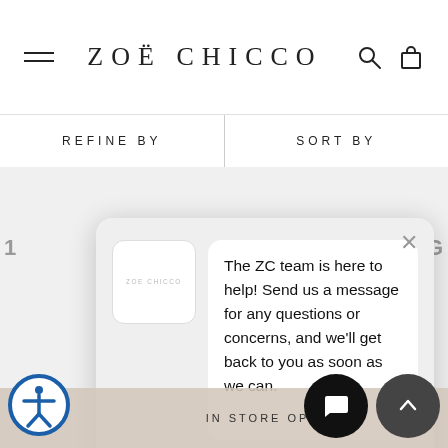ZOË CHICCO
REFINE BY
SORT BY
[Figure (screenshot): Chat popup widget for Zoë Chicco website. Contains a logo box with 'ZOE CHICCO' text, a chat bubble with message 'The ZC team is here to help! Send us a message for any questions or concerns, and we'll get back to you as soon as we can.', Instagram and email contact icons, and a close X button.]
IN STORE OPTIONS